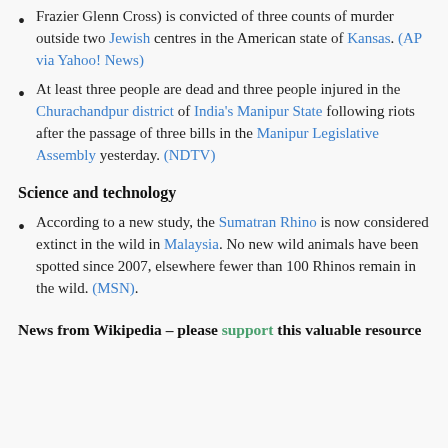Frazier Glenn Cross) is convicted of three counts of murder outside two Jewish centres in the American state of Kansas. (AP via Yahoo! News)
At least three people are dead and three people injured in the Churachandpur district of India's Manipur State following riots after the passage of three bills in the Manipur Legislative Assembly yesterday. (NDTV)
Science and technology
According to a new study, the Sumatran Rhino is now considered extinct in the wild in Malaysia. No new wild animals have been spotted since 2007, elsewhere fewer than 100 Rhinos remain in the wild. (MSN).
News from Wikipedia – please support this valuable resource